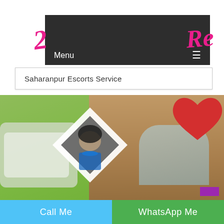[Figure (screenshot): Website navigation bar with dark background showing Menu text and hamburger icon, with pink cursive logo letters on white background on either side]
Menu
Saharanpur Escorts Service
[Figure (photo): Two women photos on green background — one in a diamond-shaped frame wearing blue dress with face blurred, another woman on the right with face covered by a red heart emoji, wearing a light blue outfit. A purple accent rectangle in bottom right corner.]
Call Me
WhatsApp Me